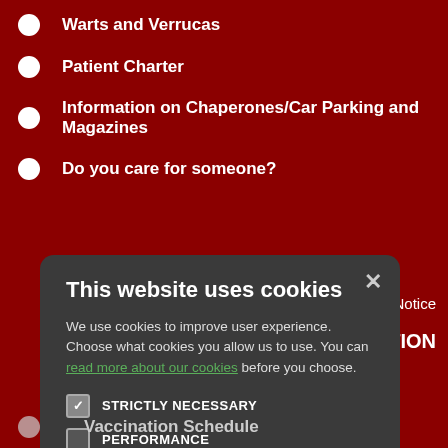Warts and Verrucas
Patient Charter
Information on Chaperones/Car Parking and Magazines
Do you care for someone?
ivacy Notice
ATION
[Figure (screenshot): Cookie consent modal dialog with title 'This website uses cookies', body text explaining cookie usage, a link 'read more about our cookies', checkboxes for STRICTLY NECESSARY (checked), PERFORMANCE, TARGETING, FUNCTIONALITY, and two buttons: ACCEPT ALL (green) and DECLINE ALL (outline).]
Vaccination Schedule